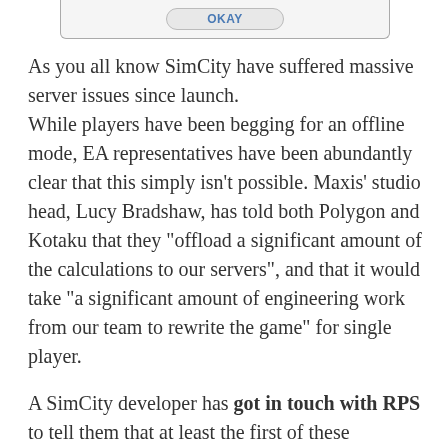[Figure (screenshot): Dialog box bottom edge with an OKAY button]
As you all know SimCity have suffered massive server issues since launch. While players have been begging for an offline mode, EA representatives have been abundantly clear that this simply isn’t possible. Maxis’ studio head, Lucy Bradshaw, has told both Polygon and Kotaku that they “offload a significant amount of the calculations to our servers”, and that it would take “a significant amount of engineering work from our team to rewrite the game” for single player.
A SimCity developer has got in touch with RPS to tell them that at least the first of these statements is not true. He claimed that the server is not handling calculations for non-social aspects of running the game, and that